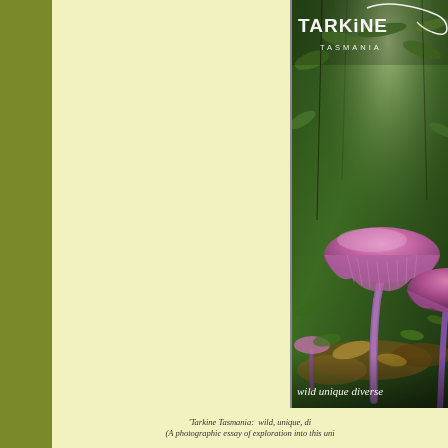[Figure (photo): Book cover of 'Tarkine Tasmania: wild, unique, diverse' showing a close-up photograph of purple/pink mushrooms growing on a forest floor surrounded by green ferns and vegetation. The Tarkine Tasmania logo appears in white in the upper portion of the image. Text 'wild unique diverse' appears at the bottom of the photo.]
'Tarkine Tasmania:  wild, unique, diverse' (A photographic essay of exploration into this uni… …d t t f J A t …